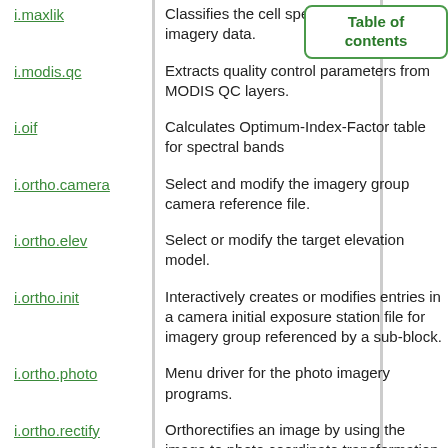[Figure (other): Table of contents badge in top right corner]
i.maxlik — Classifies the cell spectral reflectances in imagery data.
i.modis.qc — Extracts quality control parameters from MODIS QC layers.
i.oif — Calculates Optimum-Index-Factor table for spectral bands
i.ortho.camera — Select and modify the imagery group camera reference file.
i.ortho.elev — Select or modify the target elevation model.
i.ortho.init — Interactively creates or modifies entries in a camera initial exposure station file for imagery group referenced by a sub-block.
i.ortho.photo — Menu driver for the photo imagery programs.
i.ortho.rectify — Orthorectifies an image by using the image to photo coordinate transformation matrix.